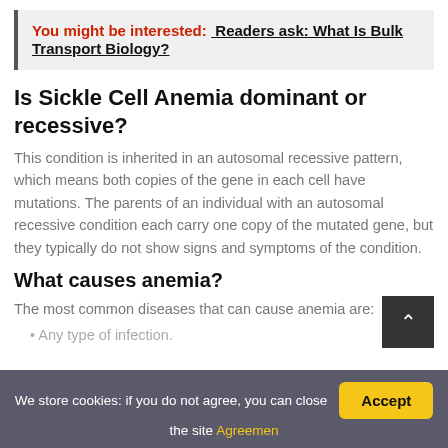You might be interested:  Readers ask: What Is Bulk Transport Biology?
Is Sickle Cell Anemia dominant or recessive?
This condition is inherited in an autosomal recessive pattern, which means both copies of the gene in each cell have mutations. The parents of an individual with an autosomal recessive condition each carry one copy of the mutated gene, but they typically do not show signs and symptoms of the condition.
What causes anemia?
The most common diseases that can cause anemia are:
Any type of infection.
We store cookies: if you do not agree, you can close the site Agreemen